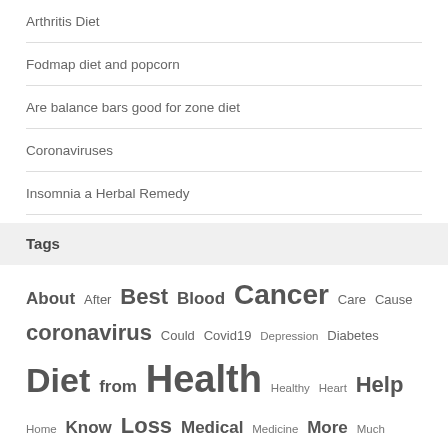Arthritis Diet
Fodmap diet and popcorn
Are balance bars good for zone diet
Coronaviruses
Insomnia a Herbal Remedy
Tags
About After Best Blood Cancer Care Cause coronavirus Could Covid19 Depression Diabetes Diet from Health Healthy Heart Help Home Know Loss Medical Medicine More Much Natural Need News Pain Pressure Relief Risk Says Should Sleep Study Take This Today